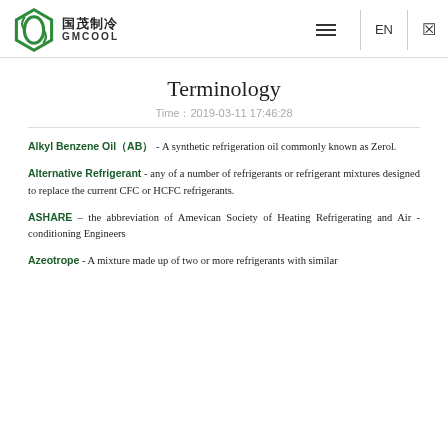GMCOOL 国茂制冷 — EN
Terminology
Time：2019-03-11 17:46:28
Alkyl Benzene Oil（AB） - A synthetic refrigeration oil commonly known as Zerol.
Alternative Refrigerant - any of a number of refrigerants or refrigerant mixtures designed to replace the current CFC or HCFC refrigerants.
ASHARE – the abbreviation of Amevican Society of Heating Refrigerating and Air -conditioning Engineers
Azeotrope - A mixture made up of two or more refrigerants with similar